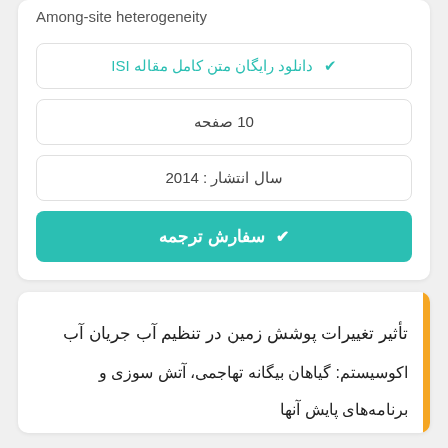Among-site heterogeneity
✔ دانلود رایگان متن کامل مقاله ISI
10 صفحه
سال انتشار : 2014
✔ سفارش ترجمه
تأثیر تغییرات پوشش زمین در تنظیم آب جریان آب اکوسیستم: گیاهان بیگانه تهاجمی، آتش سوزی و ...